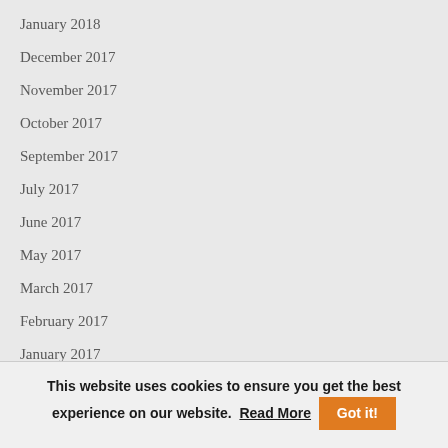January 2018
December 2017
November 2017
October 2017
September 2017
July 2017
June 2017
May 2017
March 2017
February 2017
January 2017
This website uses cookies to ensure you get the best experience on our website. Read More Got it!